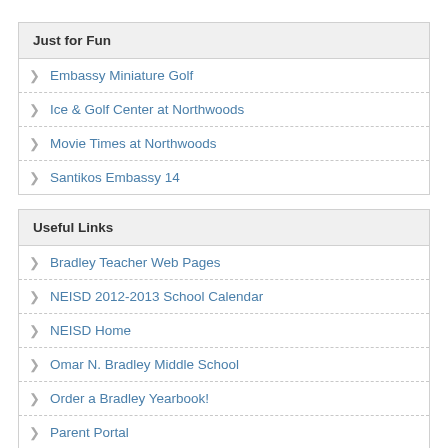Just for Fun
Embassy Miniature Golf
Ice & Golf Center at Northwoods
Movie Times at Northwoods
Santikos Embassy 14
Useful Links
Bradley Teacher Web Pages
NEISD 2012-2013 School Calendar
NEISD Home
Omar N. Bradley Middle School
Order a Bradley Yearbook!
Parent Portal
Upload pictures for our Bradley yearbook and time capsule!